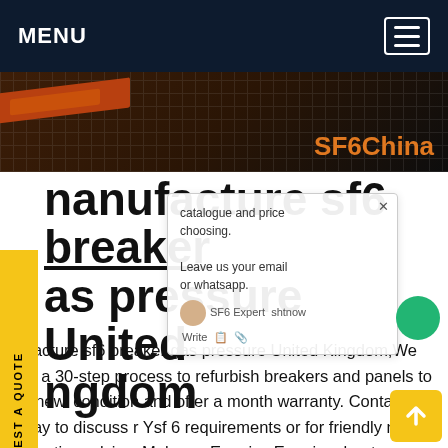MENU
[Figure (photo): Hero banner with orange industrial equipment, dark background, SF6China branding]
manufacture sf6 breaker gas pressure United Kingdom
manufacture sf6 breaker gas pressure United Kingdom,We use a 30-step process to refurbish breakers and panels to 'as new' condition and offer a month warranty. Contact us today to discuss r Ysf 6 requirements or for friendly no obligation advice. Make an Enquiry. Enquiry about Yorkshire Switchgear Ygaz sf6 Sulfr hexafluoride Circuit Breaker. Call us now on +44 (0) 191 414 2916 or